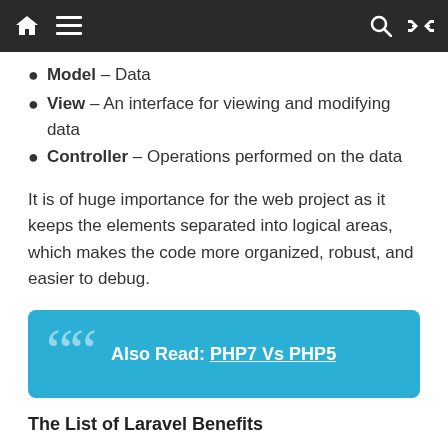Navigation bar with home, menu, search, and shuffle icons
Model – Data
View – An interface for viewing and modifying data
Controller – Operations performed on the data
It is of huge importance for the web project as it keeps the elements separated into logical areas, which makes the code more organized, robust, and easier to debug.
[Figure (other): Blue quote box with quotation mark icon and text: Also Read: PHP7 Vs PHP5]
The List of Laravel Benefits